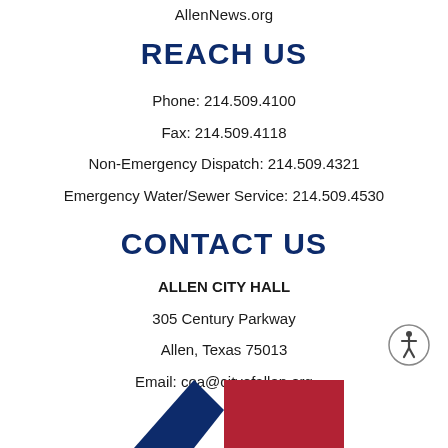AllenNews.org
REACH US
Phone: 214.509.4100
Fax: 214.509.4118
Non-Emergency Dispatch: 214.509.4321
Emergency Water/Sewer Service: 214.509.4530
CONTACT US
ALLEN CITY HALL
305 Century Parkway
Allen, Texas 75013
Email: coa@cityofallen.org
[Figure (logo): Allen city logo with blue A shape and red rectangle]
[Figure (illustration): Accessibility icon - person in circle]